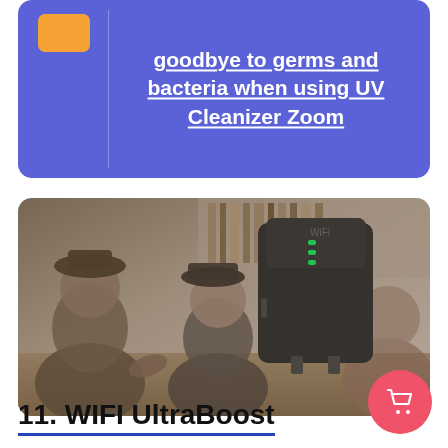goodbye to germs and bacteria when using UV Cleanizer Zoom
[Figure (photo): A WiFi range extender/booster device (black, with green LED indicator lights) overlaid on a background showing a group of people at a table in a library setting, enjoying themselves.]
11. WIFI UltraBoost